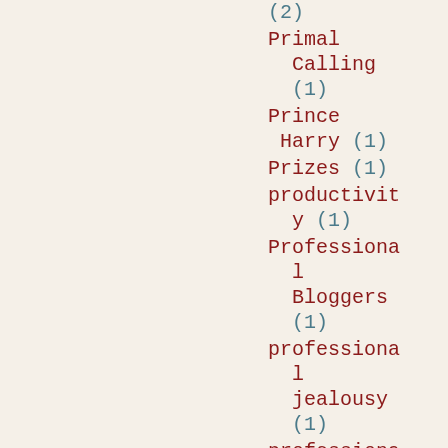(2)
Primal Calling (1)
Prince Harry (1)
Prizes (1)
productivity (1)
Professional Bloggers (1)
professional jealousy (1)
professiona…